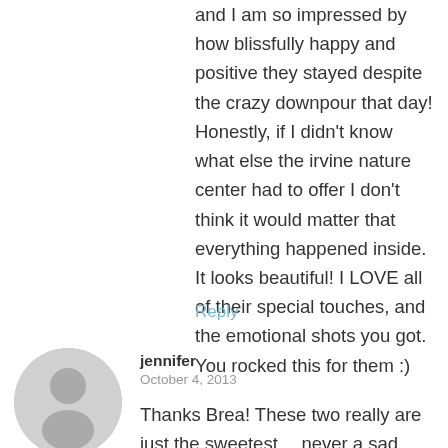and I am so impressed by how blissfully happy and positive they stayed despite the crazy downpour that day! Honestly, if I didn't know what else the irvine nature center had to offer I don't think it would matter that everything happened inside. It looks beautiful! I LOVE all of their special touches, and the emotional shots you got. You rocked this for them :)
Reply
[Figure (illustration): Circular gray avatar placeholder icon showing a silhouette of a person]
jennifer
October 4, 2013
Thanks Brea! These two really are just the sweetest… never a sad face all day.